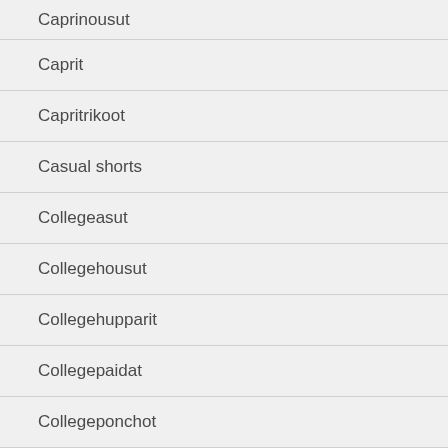Caprinousut
Caprit
Capritrikoot
Casual shorts
Collegeasut
Collegehousut
Collegehupparit
Collegepaidat
Collegeponchot
Collegepuserot